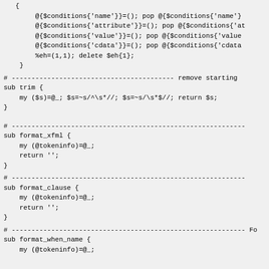{
        @{$conditions{'name'}}=(); pop @{$conditions{'name'}
        @{$conditions{'attribute'}}=(); pop @{$conditions{'at
        @{$conditions{'value'}}=(); pop @{$conditions{'value
        @{$conditions{'cdata'}}=(); pop @{$conditions{'cdata
        %eh=(1,1); delete $eh{1};
    }
# ----------------------------------------- remove starting
sub trim {
    my ($s)=@_; $s=~s/^\s*//; $s=~s/\s*$//; return $s;
}
# -----------------------------------------------------------
sub format_xfml {
    my (@tokeninfo)=@_;
    return '';
}
# -----------------------------------------------------------
sub format_clause {
    my (@tokeninfo)=@_;
    return '';
}
# ----------------------------------------------------------- Fo
sub format_when_name {
    my (@tokeninfo)=@_;